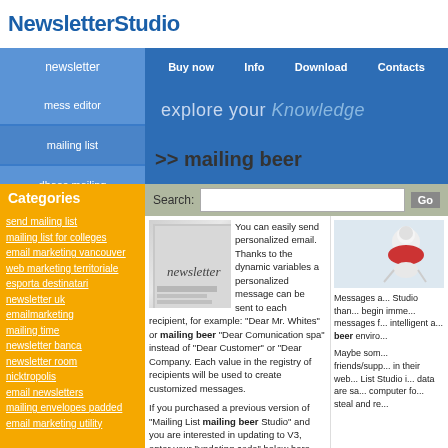NewsletterStudio
newsletter | mess editor | mailing list | dbase mailing
Buy now | Info | Download | Contacts
explore your Knowledge
>> mailing beer
Categories
send mailing list
mailing list for colleges
email marketing vancouver
web marketing territoriale
esporta destinatari
newsletter uk
emailmarketing
mailing time
newsletter banca
newsletter room
nicktropolis
email newsletters
mailing envelopes padded
email marketing utility
You can easily send personalized email. Thanks to the dynamic variables a personalized message can be sent to each recipient, for example: "Dear Mr. Whites" or mailing beer "Dear Comunication spa" instead of "Dear Customer" or "Dear Company. Each value in the registry of recipients will be used to create customized messages.
If you purchased a previous version of "Mailing List mailing beer Studio" and you are interested in updating to V3, enter your "updating code" below here, you will be redirected to the page with purchase prices reserved to you.
You can mailing beer download free Mailing List Studio.
Messages a... Studio than... begin imme... messages f... intelligent a... beer enviro...
Maybe som... friends/supp... in their web... List Studio i... data are sa... computer fo... steal and re...